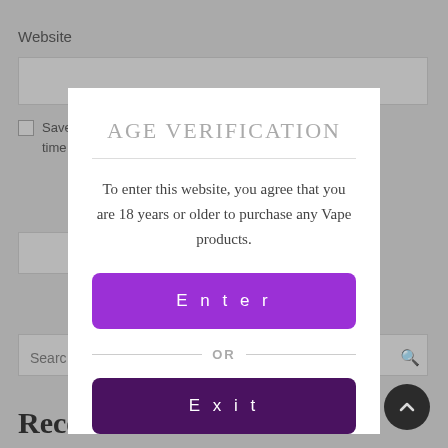AGE VERIFICATION
To enter this website, you agree that you are 18 years or older to purchase any Vape products.
Enter
OR
Exit